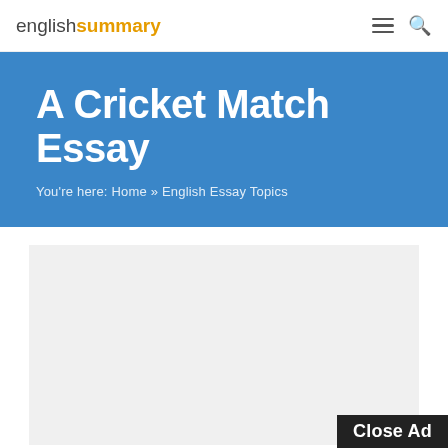englishsummary
A Cricket Match Essay
You're here: Home » English Essay Topics
[Figure (other): Advertisement placeholder area with light gray background]
Cricket is a gentleman's game. It is very popular and enjoyed all over the world